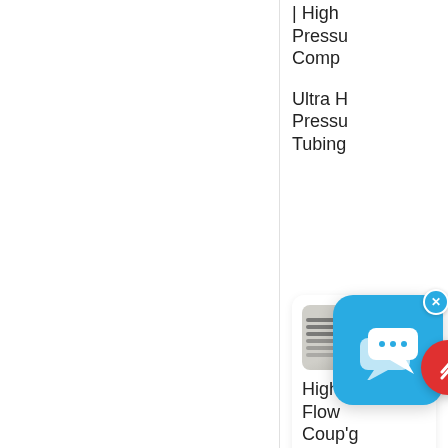| High Pressure Comp
Ultra High Pressure Tubing
[Figure (screenshot): Chat application popup overlay with blue background and speech bubble icons, with an X close button]
[Figure (photo): Product thumbnail showing stacked high pressure tubing/coiled metal tubes]
High Flow Couplings And Plugs | Simply